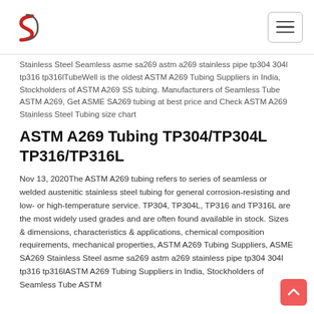TubeWell logo and navigation menu
Stainless Steel Seamless asme sa269 astm a269 stainless pipe tp304 304l tp316 tp316lTubeWell is the oldest ASTM A269 Tubing Suppliers in India, Stockholders of ASTM A269 SS tubing. Manufacturers of Seamless Tube ASTM A269, Get ASME SA269 tubing at best price and Check ASTM A269 Stainless Steel Tubing size chart
ASTM A269 Tubing TP304/TP304L TP316/TP316L
Nov 13, 2020The ASTM A269 tubing refers to series of seamless or welded austenitic stainless steel tubing for general corrosion-resisting and low- or high-temperature service. TP304, TP304L, TP316 and TP316L are the most widely used grades and are often found available in stock. Sizes & dimensions, characteristics & applications, chemical composition requirements, mechanical properties, ASTM A269 Tubing Suppliers, ASME SA269 Stainless Steel asme sa269 astm a269 stainless pipe tp304 304l tp316 tp316lASTM A269 Tubing Suppliers in India, Stockholders of Seamless Tube ASTM